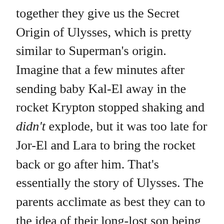together they give us the Secret Origin of Ulysses, which is pretty similar to Superman's origin. Imagine that a few minutes after sending baby Kal-El away in the rocket Krypton stopped shaking and didn't explode, but it was too late for Jor-El and Lara to bring the rocket back or go after him. That's essentially the story of Ulysses. The parents acclimate as best they can to the idea of their long-lost son being returned to them, but Ulysses seems to take it all exceptionally well. He's even decided to stay on Earth now, figuring there's no need to return to his adopted home-world.